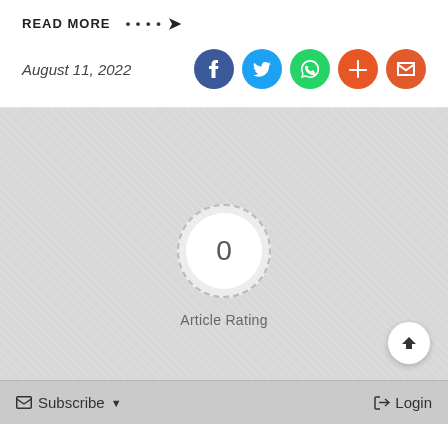READ MORE ....→
August 11, 2022
[Figure (other): Social share icons: Facebook (dark blue), Twitter (light blue), WhatsApp (green), StumbleUpon (orange-red), Email (orange)]
[Figure (other): Article rating widget showing 0 rating in a circular badge with dashed border on gray textured background, labeled 'Article Rating']
[Figure (other): Back to top button — white circular button with up arrow icon]
Subscribe ▼   Login